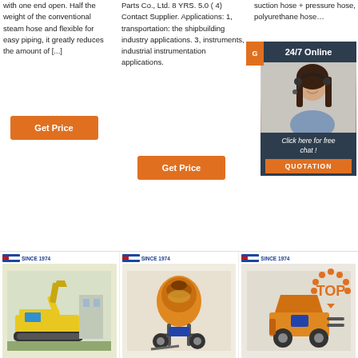with one end open. Half the weight of the conventional steam hose and flexible for easy piping, it greatly reduces the amount of [...]
Parts Co., Ltd. 8 YRS. 5.0 ( 4) Contact Supplier. Applications: 1, transportation: the shipbuilding industry applications. 3, instruments, industrial instrumentation applications.
suction hose + pressure hose, polyurethane hose…
[Figure (photo): Customer service representative with headset, smiling, with 24/7 Online banner and Click here for free chat / QUOTATION CTA panel]
Get Price
Get Price
[Figure (photo): Product listing: yellow excavator / mini digger machine]
[Figure (photo): Product listing: orange concrete mixer / mortar pump on wheels]
[Figure (photo): Product listing: orange concrete mixer / pump machine with TOP badge overlay]